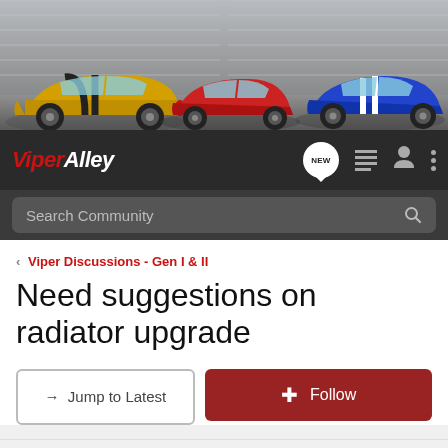[Figure (photo): Banner image showing three Dodge Viper sports cars: a yellow Viper on the left, a red Viper in the center, and a blue Viper on the right, in a garage/showroom setting.]
VIPER ALLEY - Navigation bar with logo, NEW chat bubble, list icon, user icon, and more menu dots
Search Community
< Viper Discussions - Gen I & II
Need suggestions on radiator upgrade
→ Jump to Latest
+ Follow
1 - 14 of 14 Posts